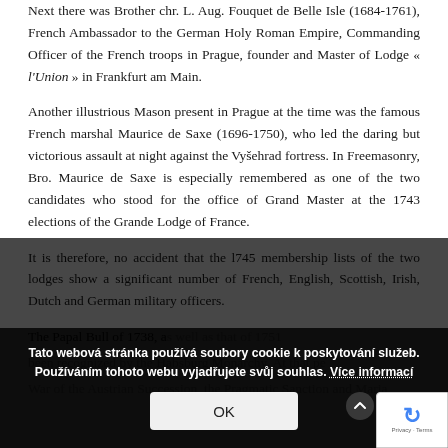Next there was Brother chr. L. Aug. Fouquet de Belle Isle (1684-1761), French Ambassador to the German Holy Roman Empire, Commanding Officer of the French troops in Prague, founder and Master of Lodge « l'Union » in Frankfurt am Main.
Another illustrious Mason present in Prague at the time was the famous French marshal Maurice de Saxe (1696-1750), who led the daring but victorious assault at night against the Vyšehrad fortress. In Freemasonry, Bro. Maurice de Saxe is especially remembered as one of the two candidates who stood for the office of Grand Master at the 1743 elections of the Grande Lodge of France.
It is therefore, no accident that the l745 membership lists of the two lodges show a significant number of French, English, Scottish, Irish, Dutch and German military officers.
The Papal Bull of 1738, as well as that of 1751... been recognized by the Habsburg Monarchy. At that pe... War of the Austrian Succession, the Pragmatic Sanction and Maria...